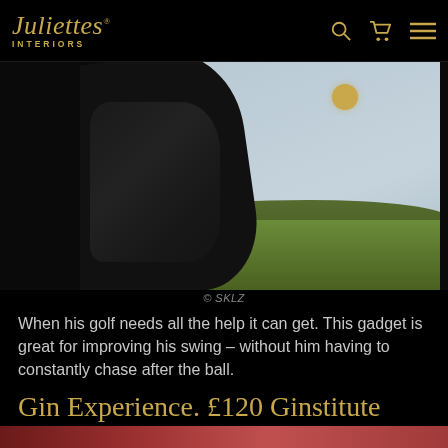Juliettes® INTERIORS
[Figure (photo): Close-up photo of a golfer in black clothing mid-swing, with a yellow golf ball visible at top, blue-grey sky and green trees in the background]
© SKLZ
When his golf needs all the help it can get. This gadget is great for improving his swing – without him having to constantly chase after the ball.
Gin Experience. £120 Ginstitute
[Figure (photo): Bottom edge of another photo, showing reddish/warm tones, partially visible]